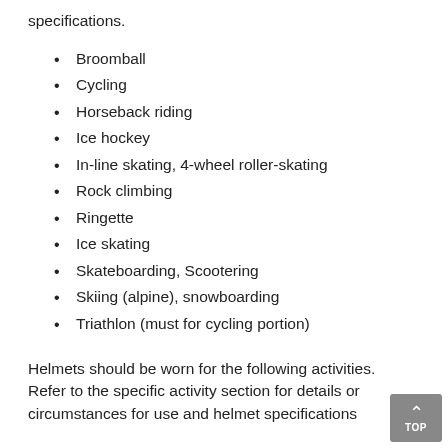specifications.
Broomball
Cycling
Horseback riding
Ice hockey
In-line skating, 4-wheel roller-skating
Rock climbing
Ringette
Ice skating
Skateboarding, Scootering
Skiing (alpine), snowboarding
Triathlon (must for cycling portion)
Helmets should be worn for the following activities. Refer to the specific activity section for details or circumstances for use and helmet specifications